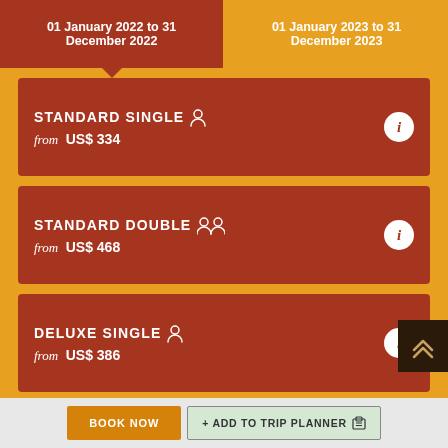| Period 1 | Period 2 |
| --- | --- |
| 01 January 2022 to 31 December 2022 | 01 January 2023 to 31 December 2023 |
STANDARD SINGLE — from US$ 334
STANDARD DOUBLE — from US$ 468
DELUXE SINGLE — from US$ 386
DELUXE DOUBLE — from US$ 542
BOOK NOW
+ ADD TO TRIP PLANNER